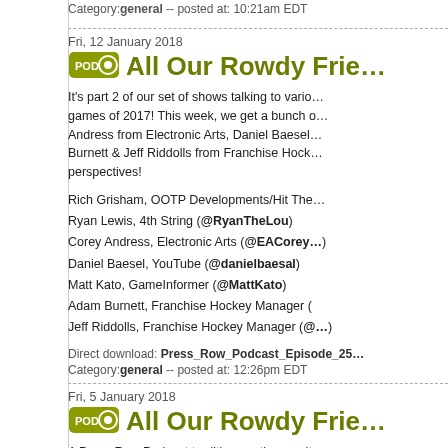Category: general -- posted at: 10:21am EDT
Fri, 12 January 2018
All Our Rowdy Frie...
It's part 2 of our set of shows talking to various games of 2017! This week, we get a bunch of... Andress from Electronic Arts, Daniel Baesel... Burnett & Jeff Riddolls from Franchise Hock... perspectives!
Rich Grisham, OOTP Developments/Hit The...
Ryan Lewis, 4th String (@RyanTheLou)
Corey Andress, Electronic Arts (@EACorey...)
Daniel Baesel, YouTube (@danielbaesal)
Matt Kato, GameInformer (@MattKato)
Adam Burnett, Franchise Hockey Manager (
Jeff Riddolls, Franchise Hockey Manager (@...
Direct download: Press_Row_Podcast_Episode_25...
Category: general -- posted at: 12:26pm EDT
Fri, 5 January 2018
All Our Rowdy Frie...
A Press Row Podcast tradition continues with... games of 2017. There are no rules other tha... featuring great friends Gus Ramsey in one s... at ESPN and the Bill Simmons podcast. Cico... contributor for years. Both played their fair s... favorites in order.
Rich Grisham, OOTP Developments/Hit The...
Gus Ramsey, Full Sail University (@gusram...)
Cicero Holmes, Spawn On Me (@stubbyst...